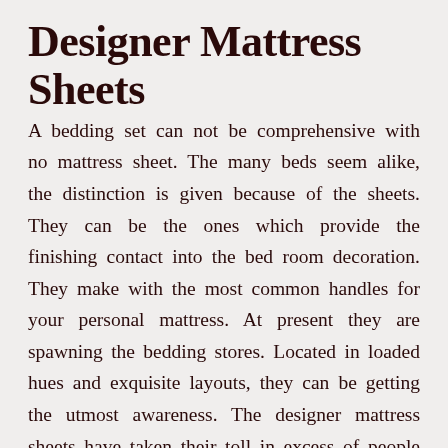Designer Mattress Sheets
A bedding set can not be comprehensive with no mattress sheet. The many beds seem alike, the distinction is given because of the sheets. They can be the ones which provide the finishing contact into the bed room decoration. They make with the most common handles for your personal mattress. At present they are spawning the bedding stores. Located in loaded hues and exquisite layouts, they can be getting the utmost awareness. The designer mattress sheets have taken their toll in excess of people and particularly around people who may have enthusiasm for bed room decoration. If you